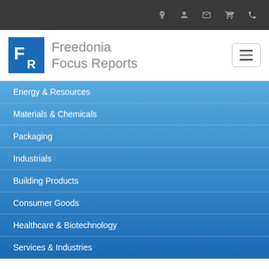[Figure (logo): Freedonia Focus Reports logo with blue square containing stylized FR letters and gray text reading Freedonia Focus Reports]
Energy & Resources
Materials & Chemicals
Packaging
Industrials
Building Products
Consumer Goods
Healthcare & Biotechnology
Services & Industries
Packaging Machinery: Europe